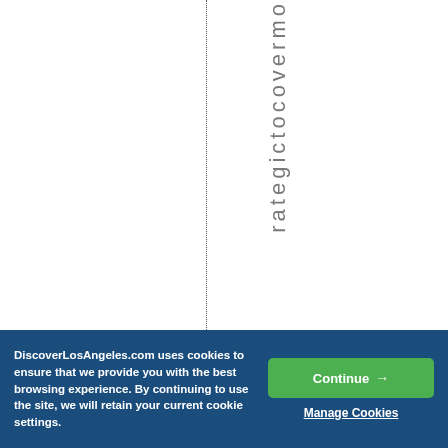rategictocovermo
DiscoverLosAngeles.com uses cookies to ensure that we provide you with the best browsing experience. By continuing to use the site, we will retain your current cookie settings.
Continue →
Manage Cookies